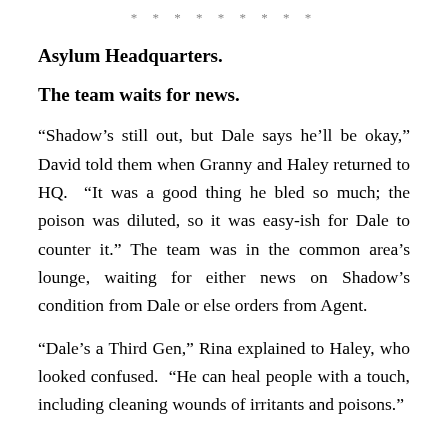* * * * * * * * *
Asylum Headquarters.
The team waits for news.
“Shadow’s still out, but Dale says he’ll be okay,” David told them when Granny and Haley returned to HQ. “It was a good thing he bled so much; the poison was diluted, so it was easy-ish for Dale to counter it.” The team was in the common area’s lounge, waiting for either news on Shadow’s condition from Dale or else orders from Agent.
“Dale’s a Third Gen,” Rina explained to Haley, who looked confused. “He can heal people with a touch, including cleaning wounds of irritants and poisons.”